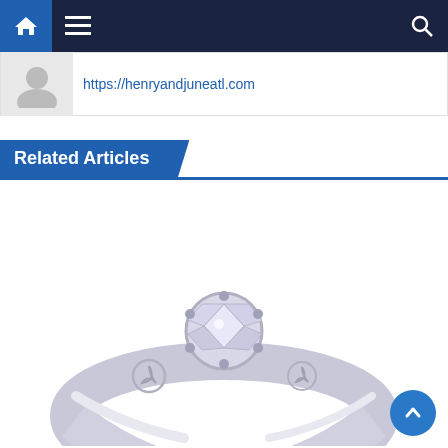Navigation bar with home, menu, and search icons
https://henryandjuneatl.com
Related Articles
[Figure (photo): Close-up photo of a white gold or silver Celtic diamond engagement ring with a round center diamond and Trinity knot side details, shown on a white background.]